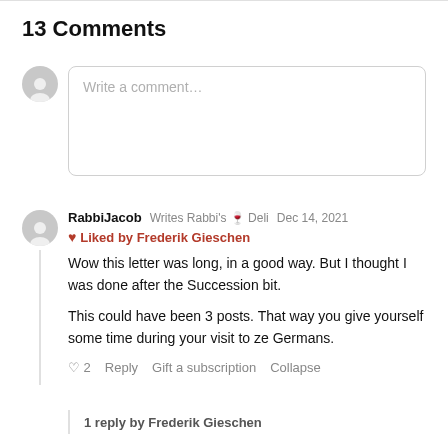13 Comments
Write a comment...
RabbiJacob  Writes Rabbi's 🍷 Deli  Dec 14, 2021
❤️ Liked by Frederik Gieschen
Wow this letter was long, in a good way. But I thought I was done after the Succession bit.

This could have been 3 posts. That way you give yourself some time during your visit to ze Germans.
♡ 2  Reply  Gift a subscription  Collapse
1 reply by Frederik Gieschen